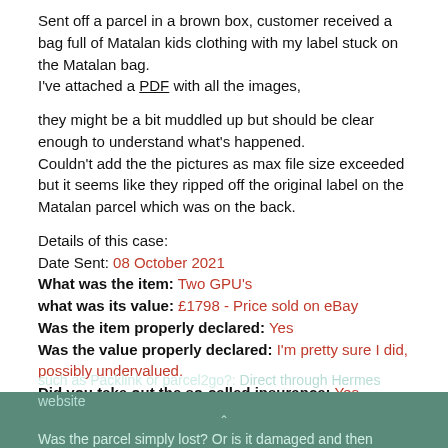Sent off a parcel in a brown box, customer received a bag full of Matalan kids clothing with my label stuck on the Matalan bag.
I've attached a PDF with all the images,
they might be a bit muddled up but should be clear enough to understand what's happened.
Couldn't add the the pictures as max file size exceeded but it seems like they ripped off the original label on the Matalan parcel which was on the back.
Details of this case:
Date Sent: 08 October 2021
What was the item: Two GPU's
what was its value: £1798 - Price sold on eBay
Was the item properly declared: Yes
Was the value properly declared: I'm pretty sure I did, possibly undervalued.
Did you take out the so-called insurance: Yes
Did you book this with HERMES directly or did you use a broker such as Packlink or parcel2go?: Direct through Hermes website
Was the parcel simply lost? Or is it damaged and then destroyed?
such as Packlink or parcel2go?: Direct through Hermes website
Was the parcel simply lost? Or is it damaged and then destroyed?